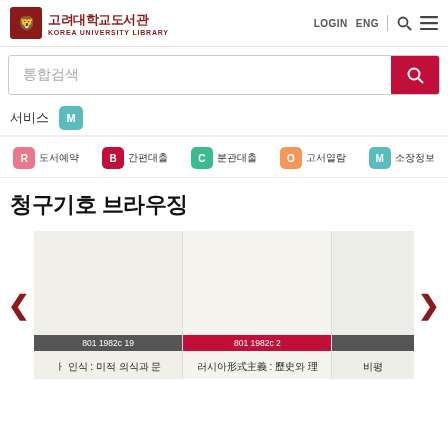[Figure (logo): Korea University Library logo with Korean text 고려대학교도서관]
LOGIN  ENG
[Figure (screenshot): Search and menu icons]
통합검색
서비스  M
R 도서예약
B 간편대출
C 분관대출
O 고서열람
M 소장정보
청구기호 브라우징
[Figure (screenshot): Book carousel showing library books with call numbers: 801 1982c 19 (미적 의식과 문...), 801 1982c 2 (러시아形式主義 : 歷史와 理...), 비평...]
801 1982c 19  |  ㅏ 인식 : 미적 의식과 문
801 1982c 2  |  러시아形式主義 : 歷史와 理
비평